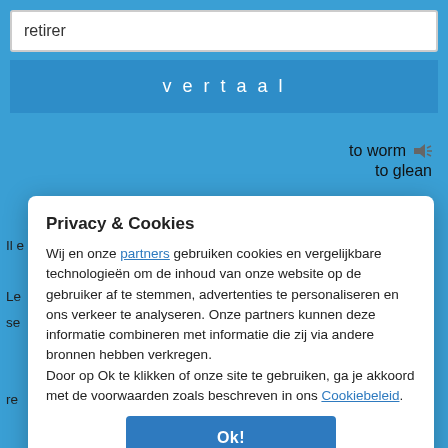retirer
vertaal
to worm
to glean
Privacy & Cookies
Wij en onze partners gebruiken cookies en vergelijkbare technologieën om de inhoud van onze website op de gebruiker af te stemmen, advertenties te personaliseren en ons verkeer te analyseren. Onze partners kunnen deze informatie combineren met informatie die zij via andere bronnen hebben verkregen.
Door op Ok te klikken of onze site te gebruiken, ga je akkoord met de voorwaarden zoals beschreven in ons Cookiebeleid.
Ok!